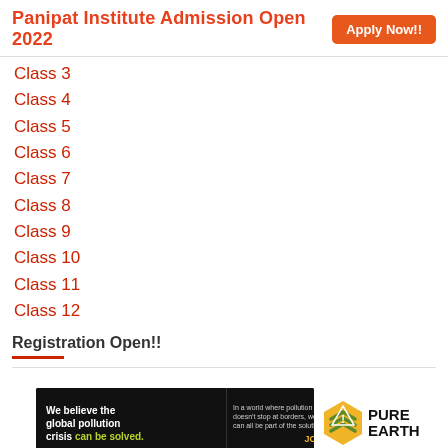Panipat Institute Admission Open 2022  Apply Now!!
Class 3
Class 4
Class 5
Class 6
Class 7
Class 8
Class 9
Class 10
Class 11
Class 12
Registration Open!!
[Figure (infographic): Pure Earth advertisement banner: 'We believe the global pollution crisis can be solved. In a world where pollution doesn't stop at borders, we can all be part of the solution. JOIN US.' with Pure Earth logo.]